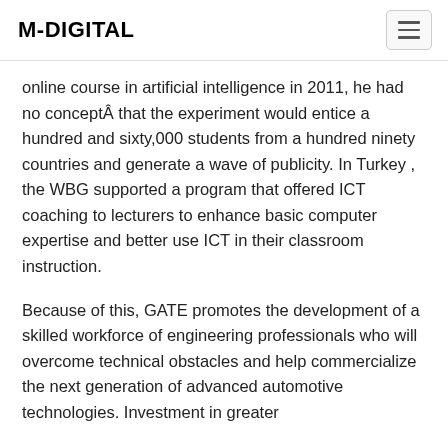M-DIGITAL
online course in artificial intelligence in 2011, he had no conceptÂ that the experiment would entice a hundred and sixty,000 students from a hundred ninety countries and generate a wave of publicity. In Turkey , the WBG supported a program that offered ICT coaching to lecturers to enhance basic computer expertise and better use ICT in their classroom instruction.
Because of this, GATE promotes the development of a skilled workforce of engineering professionals who will overcome technical obstacles and help commercialize the next generation of advanced automotive technologies. Investment in greater